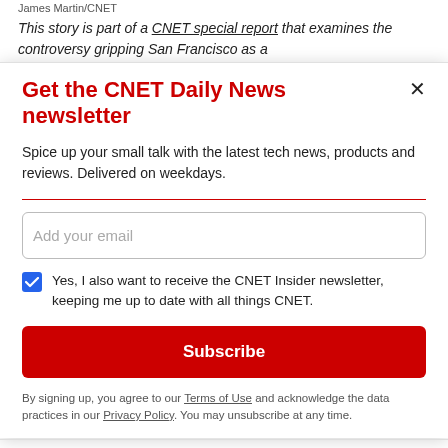James Martin/CNET
This story is part of a CNET special report that examines the controversy gripping San Francisco as a
Get the CNET Daily News newsletter
Spice up your small talk with the latest tech news, products and reviews. Delivered on weekdays.
Add your email
Yes, I also want to receive the CNET Insider newsletter, keeping me up to date with all things CNET.
Subscribe
By signing up, you agree to our Terms of Use and acknowledge the data practices in our Privacy Policy. You may unsubscribe at any time.